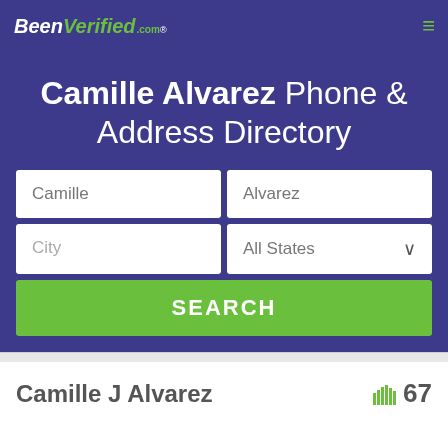BeenVerified.com
Camille Alvarez Phone & Address Directory
Camille | Alvarez | City | All States | SEARCH
Camille J Alvarez 67